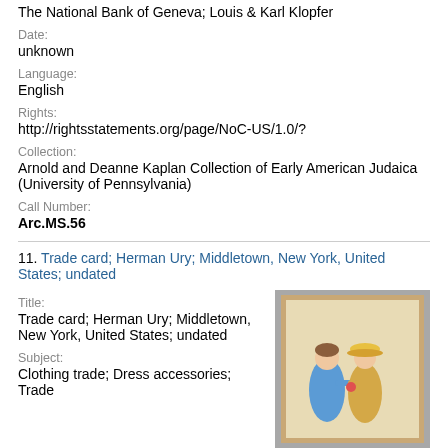The National Bank of Geneva; Louis & Karl Klopfer
Date:
unknown
Language:
English
Rights:
http://rightsstatements.org/page/NoC-US/1.0/?
Collection:
Arnold and Deanne Kaplan Collection of Early American Judaica (University of Pennsylvania)
Call Number:
Arc.MS.56
11. Trade card; Herman Ury; Middletown, New York, United States; undated
Title:
Trade card; Herman Ury; Middletown, New York, United States; undated
[Figure (photo): Thumbnail image of a trade card showing two Victorian-era children (girls) facing each other, one in blue dress, one in yellow hat, against a cream/beige background with a tan/gold border frame.]
Subject:
Clothing trade; Dress accessories; Trade